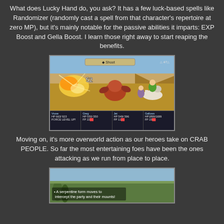What does Lucky Hand do, you ask? It has a few luck-based spells like Randomizer (randomly cast a spell from that character's repertoire at zero MP), but it's mainly notable for the passive abilities it imparts: EXP Boost and Gella Boost. I learn those right away to start reaping the benefits.
[Figure (screenshot): RPG battle scene screenshot showing combat with action bar 'Shoot' at top, damage number '52', characters fighting crab-like enemies in desert setting, with HUD showing HP/FP for Vrose, Greg, Jet, and Gallows at bottom]
Moving on, it's more overworld action as our heroes take on CRAB PEOPLE. So far the most entertaining foes have been the ones attacking as we run from place to place.
[Figure (screenshot): RPG overworld screenshot showing green environment with text: '* A serpentine form moves to intercept the party and their mounts!']